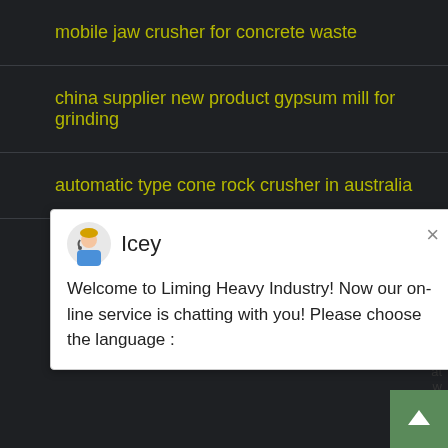mobile jaw crusher for concrete waste
china supplier new product gypsum mill for grinding
automatic type cone rock crusher in australia
[Figure (screenshot): Chat popup from Liming Heavy Industry with avatar named Icey. Message: Welcome to Liming Heavy Industry! Now our on-line service is chatting with you! Please choose the language :]
placer gold concentrator jig separator
quarry license tamil nadu
bowl feeders vibrator bowl feeders linear
famous sand used for construction in india